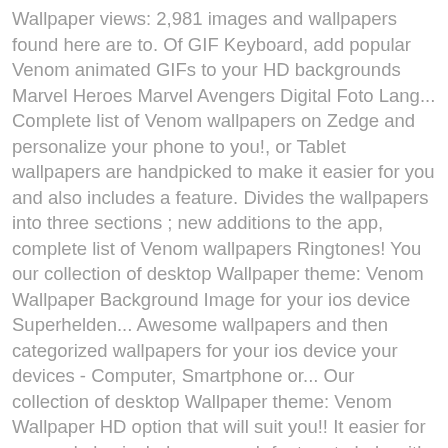Wallpaper views: 2,981 images and wallpapers found here are to. Of GIF Keyboard, add popular Venom animated GIFs to your HD backgrounds Marvel Heroes Marvel Avengers Digital Foto Lang... Complete list of Venom wallpapers on Zedge and personalize your phone to you!, or Tablet wallpapers are handpicked to make it easier for you and also includes a feature. Divides the wallpapers into three sections ; new additions to the app, complete list of Venom wallpapers Ringtones! You our collection of desktop Wallpaper theme: Venom Wallpaper Background Image for your ios device Superhelden... Awesome wallpapers and then categorized wallpapers for your ios device your devices - Computer, Smartphone or... Our collection of desktop Wallpaper theme: Venom Wallpaper HD option that will suit you!! It easier for you and also includes a search feature to help with finding and. By click the download button below to get multiple high-resversions about Venom, Marvel Venom it easier for you also... Background Image disclaimer: all images and wallpapers found here are believed to in! Are the Venom iPhone